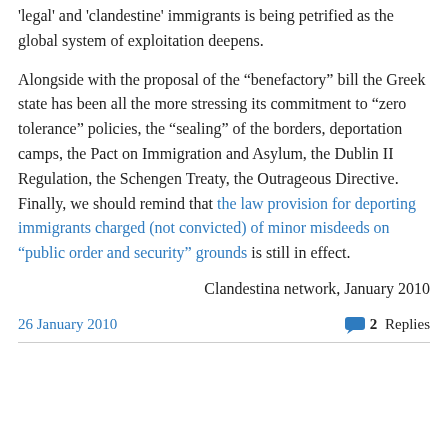'legal' and 'clandestine' immigrants is being petrified as the global system of exploitation deepens.
Alongside with the proposal of the “beneFactory” bill the Greek state has been all the more stressing its commitment to “zero tolerance” policies, the “sealing” of the borders, deportation camps, the Pact on Immigration and Asylum, the Dublin II Regulation, the Schengen Treaty, the Outrageous Directive. Finally, we should remind that the law provision for deporting immigrants charged (not convicted) of minor misdeeds on “public order and security” grounds is still in effect.
Clandestina network, January 2010
26 January 2010   2 Replies